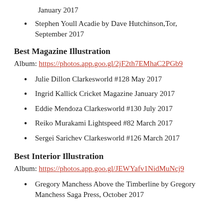January 2017
Stephen Youll Acadie by Dave Hutchinson, Tor, September 2017
Best Magazine Illustration
Album: https://photos.app.goo.gl/2jF2th7EMhaC2PGb9
Julie Dillon Clarkesworld #128 May 2017
Ingrid Kallick Cricket Magazine January 2017
Eddie Mendoza Clarkesworld #130 July 2017
Reiko Murakami Lightspeed #82 March 2017
Sergei Sarichev Clarkesworld #126 March 2017
Best Interior Illustration
Album: https://photos.app.goo.gl/JEWYafv1NidMuNcj9
Gregory Manchess Above the Timberline by Gregory Manchess Saga Press, October 2017